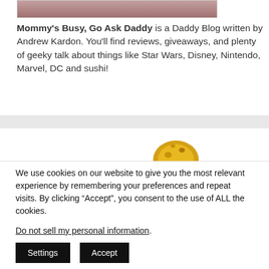[Figure (photo): Partial image of a person visible at the top of the page, cropped]
Mommy's Busy, Go Ask Daddy is a Daddy Blog written by Andrew Kardon. You'll find reviews, giveaways, and plenty of geeky talk about things like Star Wars, Disney, Nintendo, Marvel, DC and sushi!
[Figure (photo): Partial image of a cookie/food item, orange/yellow colored, partially visible]
We use cookies on our website to give you the most relevant experience by remembering your preferences and repeat visits. By clicking “Accept”, you consent to the use of ALL the cookies.
Do not sell my personal information.
Settings  Accept